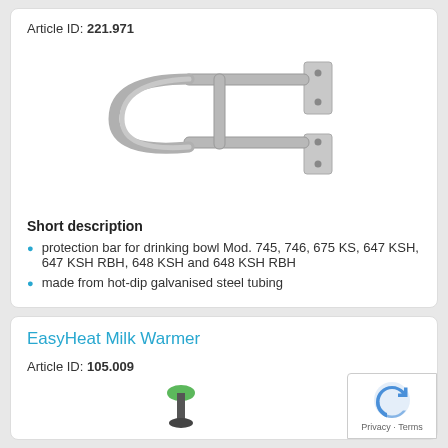Article ID: 221.971
[Figure (photo): Metal protection bar/guard for drinking bowl, made of galvanised steel tubing, curved U-shape with wall mounting plates]
Short description
protection bar for drinking bowl Mod. 745, 746, 675 KS, 647 KSH, 647 KSH RBH, 648 KSH and 648 KSH RBH
made from hot-dip galvanised steel tubing
EasyHeat Milk Warmer
Article ID: 105.009
[Figure (photo): Partial view of EasyHeat Milk Warmer product with green handle visible at bottom]